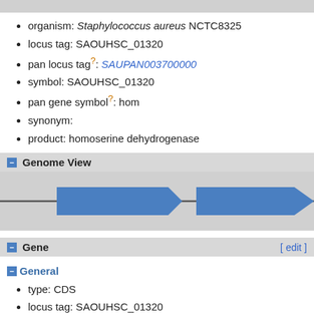organism: Staphylococcus aureus NCTC8325
locus tag: SAOUHSC_01320
pan locus tag?: SAUPAN003700000
symbol: SAOUHSC_01320
pan gene symbol?: hom
synonym:
product: homoserine dehydrogenase
Genome View
[Figure (other): Genome view showing two blue arrow-shaped gene features on a horizontal line against a grey background]
Gene
General
type: CDS
locus tag: SAOUHSC_01320
symbol: SAOUHSC_01320
product: homoserine dehydrogenase